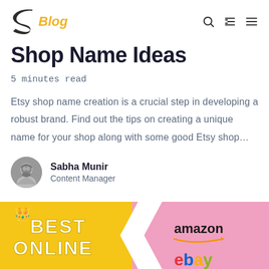S Blog
Shop Name Ideas
5 minutes read
Etsy shop name creation is a crucial step in developing a robust brand. Find out the tips on creating a unique name for your shop along with some good Etsy shop...
Sabha Munir
Content Manager
[Figure (infographic): Colorful banner showing 'BEST ONLINE' text on yellow background with amazon and ebay logos on pink background]